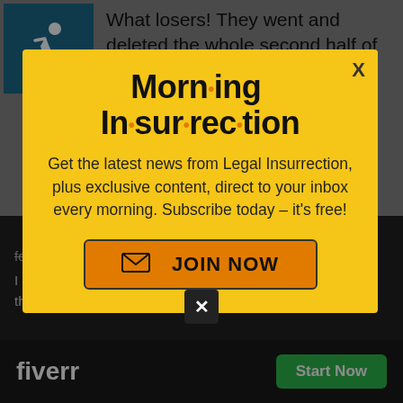[Figure (screenshot): Accessibility icon (wheelchair symbol) in teal/blue square]
What losers! They went and deleted the whole second half of the tweets. Yeah, lose on points, lose on comedy, lose on wit … and just cram
[Figure (screenshot): Morning Insurrection newsletter signup modal popup with yellow background. Title: 'Morn·ing In·sur·rec·tion'. Body text: 'Get the latest news from Legal Insurrection, plus exclusive content, direct to your inbox every morning. Subscribe today – it's free!' Button: 'JOIN NOW' with envelope icon. Close X in top right.]
for a few jujitsu moves.
I do have a screen grab in MS Word,
that on twitter can you.
[Figure (logo): Fiverr logo (white text on black background) with green 'Start Now' button]